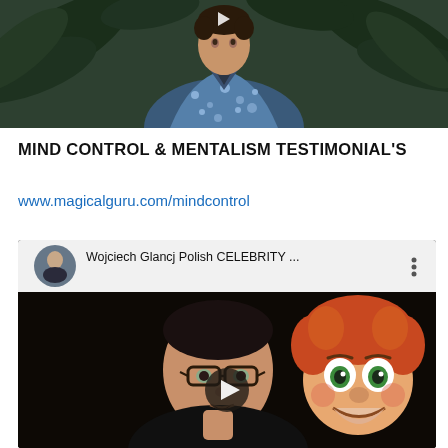[Figure (screenshot): Video thumbnail showing a man in a blue floral shirt outdoors among tropical plants, with a play button visible at the top]
MIND CONTROL & MENTALISM TESTIMONIAL'S
www.magicalguru.com/mindcontrol
[Figure (screenshot): YouTube video thumbnail titled 'Wojciech Glancj Polish CELEBRITY ...' showing a man wearing glasses next to a ventriloquist puppet with red/orange hair, with a play button in the center]